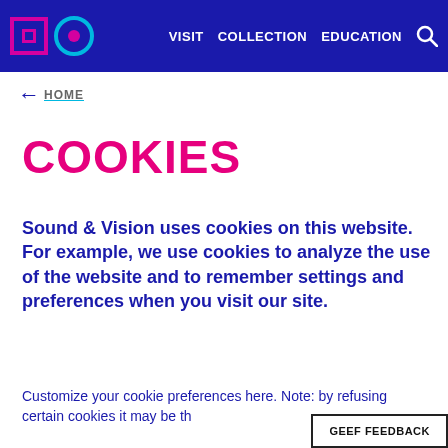VISIT  COLLECTION  EDUCATION
← HOME
COOKIES
Sound & Vision uses cookies on this website. For example, we use cookies to analyze the use of the website and to remember settings and preferences when you visit our site.
Customize your cookie preferences here. Note: by refusing certain cookies it may be th
GEEF FEEDBACK